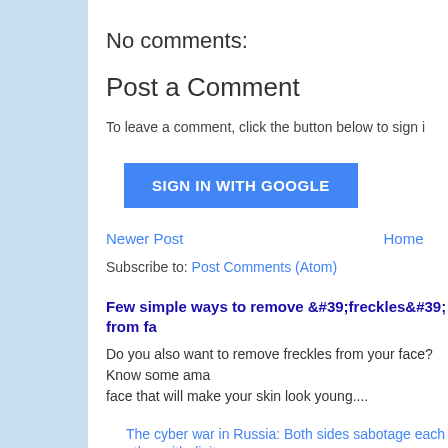No comments:
Post a Comment
To leave a comment, click the button below to sign i
[Figure (other): SIGN IN WITH GOOGLE button (blue button with white text)]
Newer Post    Home
Subscribe to: Post Comments (Atom)
Few simple ways to remove &#39;freckles&#39; from fa
Do you also want to remove freckles from your face? Know some ama face that will make your skin look young....
The cyber war in Russia: Both sides sabotage each other with digit
Hacker attacks on the country have also escalated in recent mont Ukraine.Ukranians are also giving Russians ...